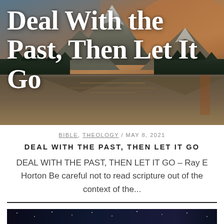[Figure (photo): Mountain landscape with lake reflection at sunset/dawn, with large white bold serif text overlay reading 'Deal With the Past, Then Let It Go']
BIBLE, THEOLOGY / MAY 8, 2021
DEAL WITH THE PAST, THEN LET IT GO
DEAL WITH THE PAST, THEN LET IT GO – Ray E Horton Be careful not to read scripture out of the context of the...
[Figure (photo): Partial view of a second article's hero image at the bottom of the page]